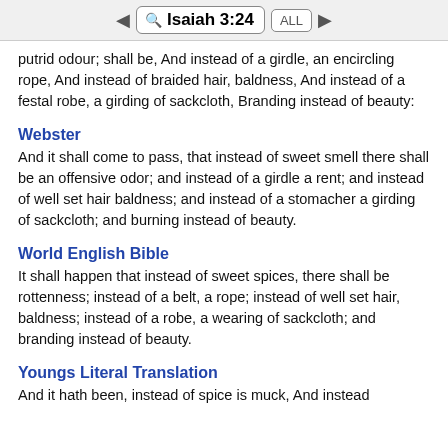Isaiah 3:24
putrid odour; shall be, And instead of a girdle, an encircling rope, And instead of braided hair, baldness, And instead of a festal robe, a girding of sackcloth, Branding instead of beauty:
Webster
And it shall come to pass, that instead of sweet smell there shall be an offensive odor; and instead of a girdle a rent; and instead of well set hair baldness; and instead of a stomacher a girding of sackcloth; and burning instead of beauty.
World English Bible
It shall happen that instead of sweet spices, there shall be rottenness; instead of a belt, a rope; instead of well set hair, baldness; instead of a robe, a wearing of sackcloth; and branding instead of beauty.
Youngs Literal Translation
And it hath been, instead of spice is muck, And instead